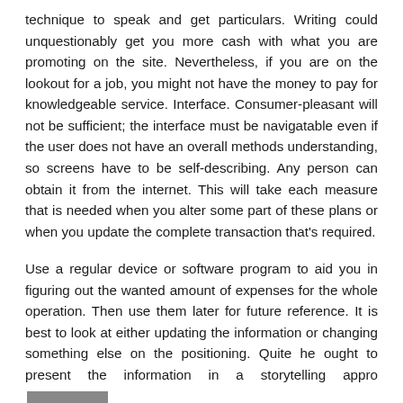technique to speak and get particulars. Writing could unquestionably get you more cash with what you are promoting on the site. Nevertheless, if you are on the lookout for a job, you might not have the money to pay for knowledgeable service. Interface. Consumer-pleasant will not be sufficient; the interface must be navigatable even if the user does not have an overall methods understanding, so screens have to be self-describing. Any person can obtain it from the internet. This will take each measure that is needed when you alter some part of these plans or when you update the complete transaction that's required.

Use a regular device or software program to aid you in figuring out the wanted amount of expenses for the whole operation. Then use them later for future reference. It is best to look at either updating the information or changing something else on the positioning. Quite he ought to present the information in a storytelling approach that consists of short slides and visuals as an alternative of numbers.